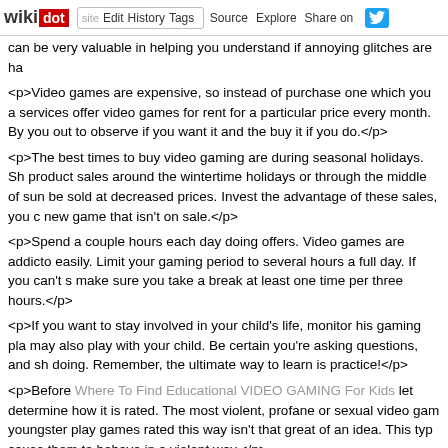wikidot | site | Edit | History | Tags | Source | Explore | Share on [Twitter]
can be very valuable in helping you understand if annoying glitches are ha
<p>Video games are expensive, so instead of purchase one which you a services offer video games for rent for a particular price every month. By you out to observe if you want it and the buy it if you do.</p>
<p>The best times to buy video gaming are during seasonal holidays. Sh product sales around the wintertime holidays or through the middle of sun be sold at decreased prices. Invest the advantage of these sales, you c new game that isn't on sale.</p>
<p>Spend a couple hours each day doing offers. Video games are addicto easily. Limit your gaming period to several hours a full day. If you can't s make sure you take a break at least one time per three hours.</p>
<p>If you want to stay involved in your child's life, monitor his gaming pla may also play with your child. Be certain you're asking questions, and sh doing. Remember, the ultimate way to learn is practice!</p>
<p>Before Where To Find Educational VIDEO GAMING For Kids let determine how it is rated. The most violent, profane or sexual video gam youngster play games rated this way isn't that great of an idea. This typ cause them to behave in a violent way.</p>
<p>Try never to buy new video gaming on your day of their release. Vide month or two from the discharge date can help you to save lots of mon always cost more for the first few weeks after their release.</p>
<p>GO to a video game arcade not in your own town. These days, e himself custom. Going out of town will give you the chance to be a little